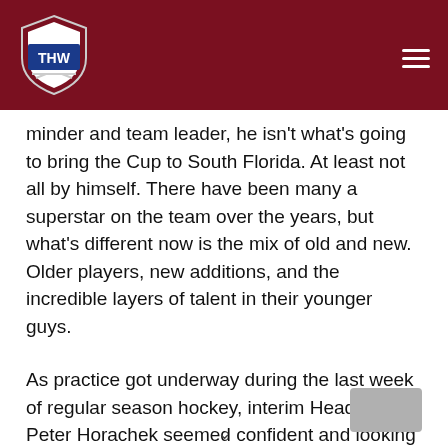THW
minder and team leader, he isn't what's going to bring the Cup to South Florida. At least not all by himself. There have been many a superstar on the team over the years, but what's different now is the mix of old and new. Older players, new additions, and the incredible layers of talent in their younger guys.
As practice got underway during the last week of regular season hockey, interim Head Coach Peter Horachek seemed confident and looking forward to getting right back to work, despite the early end of their season. In an interview with the press, he appeared prepared for summer and even next season.